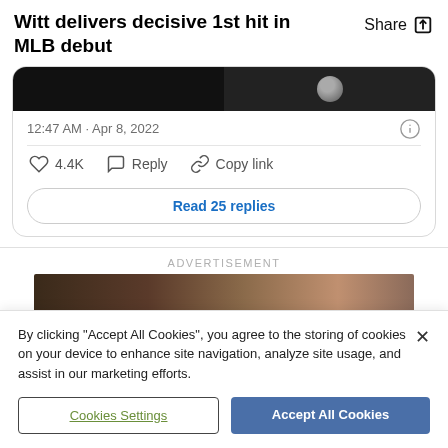Witt delivers decisive 1st hit in MLB debut
12:47 AM · Apr 8, 2022
4.4K   Reply   Copy link
Read 25 replies
ADVERTISEMENT
[Figure (photo): Advertisement image showing faces/figures in dark tones]
By clicking "Accept All Cookies", you agree to the storing of cookies on your device to enhance site navigation, analyze site usage, and assist in our marketing efforts.
Cookies Settings
Accept All Cookies